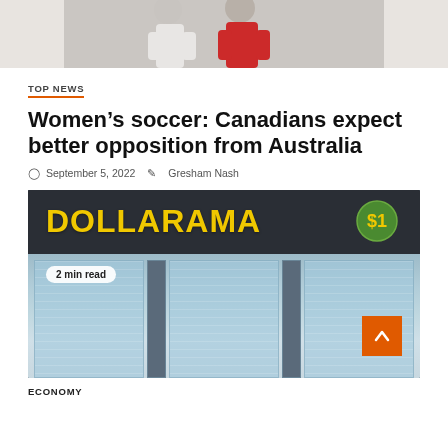[Figure (photo): Partial view of soccer players in red and white jerseys, cropped at top of page]
TOP NEWS
Women’s soccer: Canadians expect better opposition from Australia
September 5, 2022  Gresham Nash
[Figure (photo): Exterior photo of a Dollarama store showing the yellow-lettered sign and glass storefront windows. A badge reads '2 min read'.]
ECONOMY